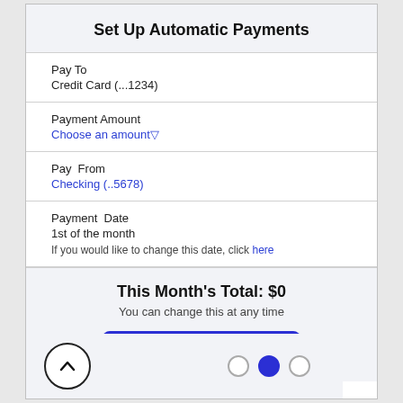Set Up Automatic Payments
Pay To
Credit Card (...1234)
Payment Amount
Choose an amount▽
Pay From
Checking (..5678)
Payment Date
1st of the month
If you would like to change this date, click here
This Month's Total: $0
You can change this at any time
Confirm
[Figure (screenshot): Navigation area with up arrow button and three pagination dots, middle dot filled blue]